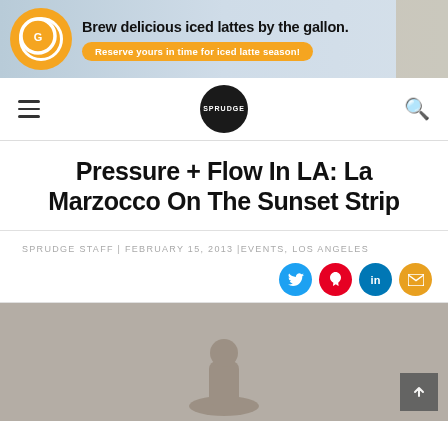[Figure (screenshot): Advertisement banner for a coffee machine: orange circular logo on left, text 'Brew delicious iced lattes by the gallon.' with orange pill button 'Reserve yours in time for iced latte season!' on blue-gray background]
[Figure (logo): Sprudge website navigation bar with hamburger menu on left, circular black Sprudge logo in center, search icon on right]
Pressure + Flow In LA: La Marzocco On The Sunset Strip
SPRUDGE STAFF | FEBRUARY 15, 2013 |EVENTS, LOS ANGELES
[Figure (photo): Partial photo showing grayish background with a coffee-related image partially visible at the bottom, with a dark scroll-to-top button on lower right]